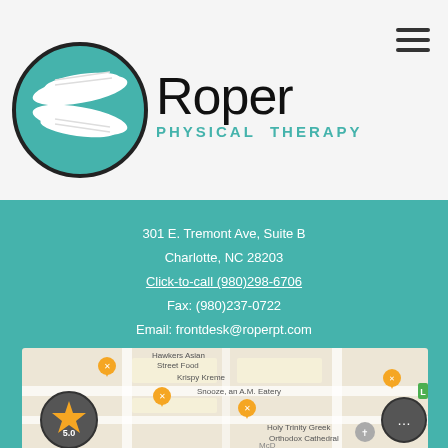[Figure (logo): Roper Physical Therapy logo: circular teal icon with two hands and text 'Roper PHYSICAL THERAPY']
301 E. Tremont Ave, Suite B
Charlotte, NC 28203
Click-to-call (980)298-6706
Fax: (980)237-0722
Email: frontdesk@roperpt.com
Find Us Easily
[Figure (map): Google Maps screenshot showing area near 301 E. Tremont Ave Charlotte NC, with nearby landmarks: Hawkers Asian Street Food, Krispy Kreme, Snooze an A.M. Eatery, Holy Trinity Greek Orthodox Cathedral. Overlaid rating badge showing 5.0 stars and a chat bubble icon.]